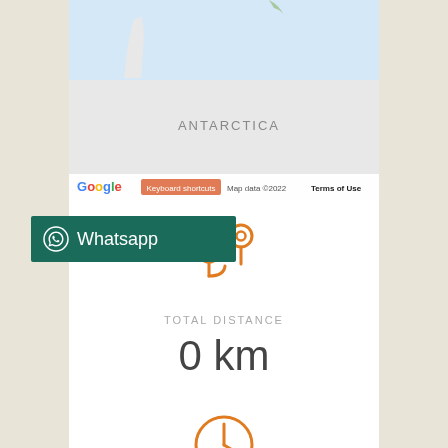[Figure (map): Google Maps screenshot showing Antarctica region with ocean in the north. Map footer shows Google logo, Keyboard shortcuts button, Map data ©2022, and Terms of Use.]
[Figure (other): WhatsApp button with WhatsApp icon and text 'Whatsapp' on dark teal/green background, positioned on the left side.]
[Figure (infographic): Orange location pin icon (two pins connected by a path) representing distance/route.]
TOTAL DISTANCE
0 km
[Figure (infographic): Orange clock/timer circle icon at the bottom of the screen.]